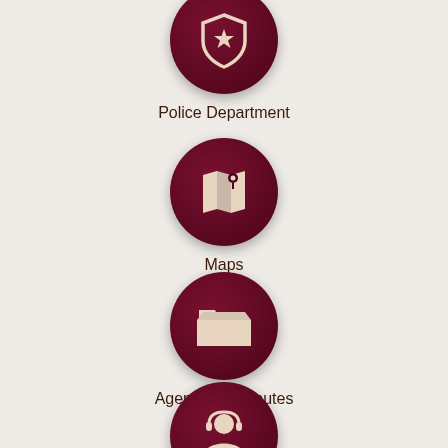[Figure (infographic): Dark maroon circle with white police badge/shield icon with star]
Police Department
[Figure (infographic): Dark maroon circle with white map and location pin icon]
Maps
[Figure (infographic): Dark maroon circle with white open folder icon]
Agendas & Minutes
[Figure (infographic): Dark maroon circle with white customer service/headset person icon]
Report a Concern